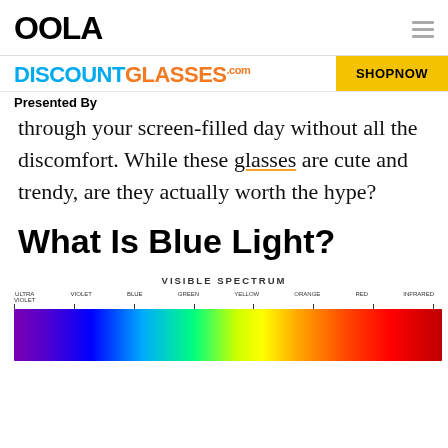OOLA
[Figure (screenshot): DiscountGlasses.com advertisement banner with SHOP NOW button]
Presented By
through your screen-filled day without all the discomfort. While these glasses are cute and trendy, are they actually worth the hype?
What Is Blue Light?
[Figure (infographic): Visible spectrum diagram showing gradient from Ultra Violet through Violet, Blue, Green, Yellow, Orange, Red, to Infrared with labeled tick marks]